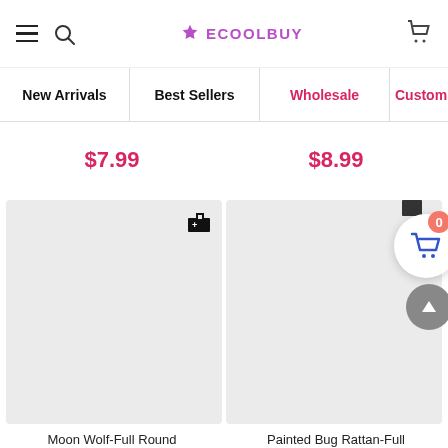ECOOLBUY - navigation header with menu, search, logo, and cart
New Arrivals
Best Sellers
Wholesale
Customi...
$7.99
$8.99
[Figure (screenshot): Product card placeholder image (gray rectangle) with add-to-cart icon in top right]
[Figure (screenshot): Product card placeholder image (gray rectangle) with floating cart button (badge 0) and back-to-top button]
Moon Wolf-Full Round
Painted Bug Rattan-Full